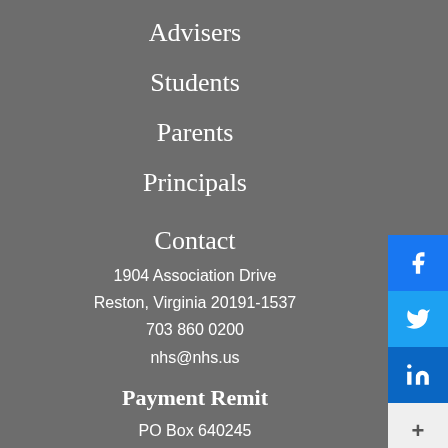Advisers
Students
Parents
Principals
Contact
1904 Association Drive
Reston, Virginia 20191-1537
703 860 0200
nhs@nhs.us
Payment Remit
PO Box 640245
Pittsburgh PA 15264-0245
Partnership Opportunities